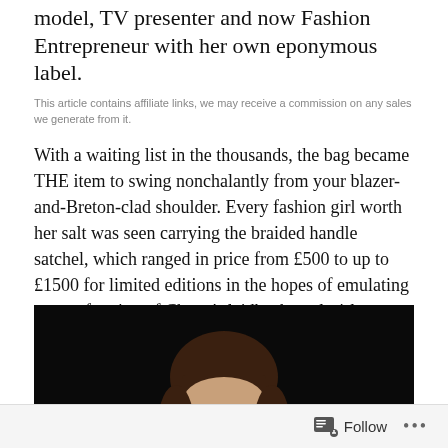model, TV presenter and now Fashion Entrepreneur with her own eponymous label.
This article contains affiliate links, we may receive a commission on any sales we generate from it.
With a waiting list in the thousands, the bag became THE item to swing nonchalantly from your blazer-and-Breton-clad shoulder. Every fashion girl worth her salt was seen carrying the braided handle satchel, which ranged in price from £500 to up to £1500 for limited editions in the hopes of emulating even a fraction of Chung's laidback cool-girl aesthetic.
[Figure (photo): Photo of a woman with bangs/fringe hairstyle against a dark background]
Follow ...